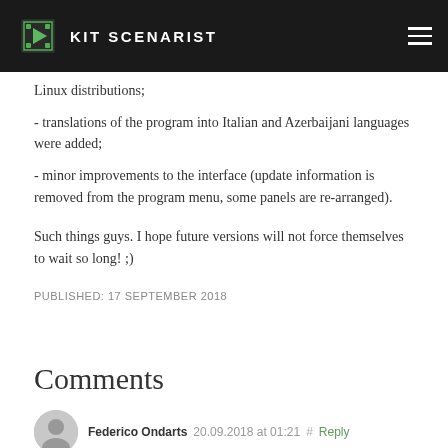KIT SCENARIST
Linux distributions;
- translations of the program into Italian and Azerbaijani languages were added;
- minor improvements to the interface (update information is removed from the program menu, some panels are re-arranged).
Such things guys. I hope future versions will not force themselves to wait so long! ;)
PUBLISHED: 17 SEPTEMBER 2018
Comments
Federico Ondarts  20.09.2018 at 01:21  #  Reply